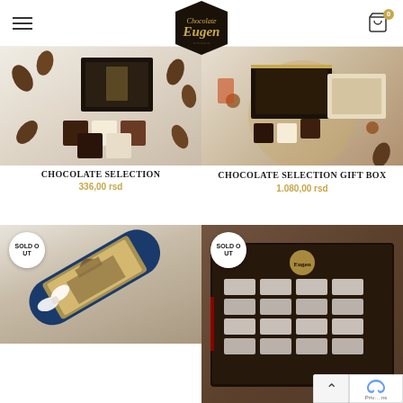Chocolate Eugen — navigation header with logo and cart
[Figure (photo): Chocolate squares and cacao beans arranged on white background with dark gift box branded Eugen]
Chocolate Selection
336,00 rsd
[Figure (photo): Chocolate squares and spices on woven mat with dark branded gift boxes]
Chocolate Selection Gift Box
1.080,00 rsd
[Figure (photo): SOLD OUT — Decorative cylindrical tube with city landmark print and white ribbon]
[Figure (photo): SOLD OUT — Dark luxury chocolate gift box with transparent lid showing chocolate bars inside, Eugen branding]